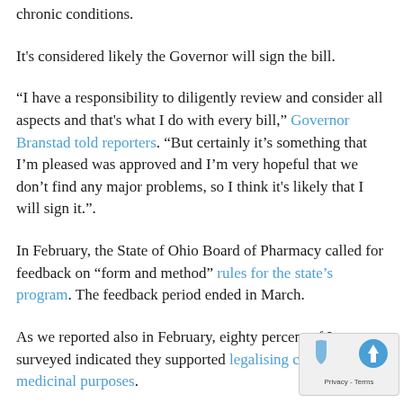chronic conditions.
It's considered likely the Governor will sign the bill.
“I have a responsibility to diligently review and consider all aspects and that’s what I do with every bill,” Governor Branstad told reporters. “But certainly it’s something that I’m pleased was approved and I’m very hopeful that we don’t find any major problems, so I think it’s likely that I will sign it.”.
In February, the State of Ohio Board of Pharmacy called for feedback on “form and method” rules for the state’s program. The feedback period ended in March.
As we reported also in February, eighty percent of Iowans surveyed indicated they supported legalising cannabis for medicinal purposes.